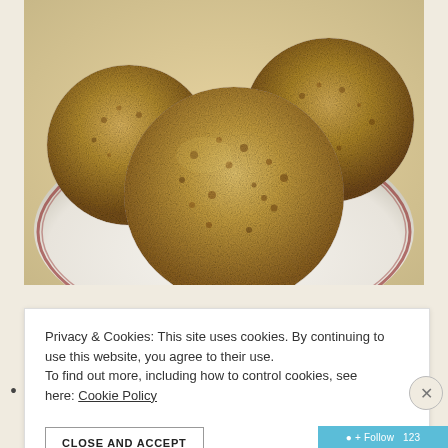[Figure (photo): Close-up photo of three round breaded/crumbed balls (likely arancini or similar fried food) on a white plate with a red rim, on a beige background.]
Privacy & Cookies: This site uses cookies. By continuing to use this website, you agree to their use.
To find out more, including how to control cookies, see here: Cookie Policy
CLOSE AND ACCEPT